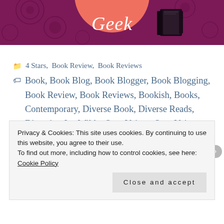[Figure (illustration): Website banner with purple background, coral/salmon circle in center showing the word 'Geek' in white italic font, and a dark book icon to the right.]
📁 4 Stars, Book Review, Book Reviews
🏷 Book, Book Blog, Book Blogger, Book Blogging, Book Review, Book Reviews, Bookish, Books, Contemporary, Diverse Book, Diverse Reads, Diversity, Jen Wilde, Own Voices, Own Voices Book, Queens of Geek, Romance, Swoon Reads, The Sassy Book Geek, YA, YA Book, YA Fiction, Young Adult, Young adult book, Young Adult
Privacy & Cookies: This site uses cookies. By continuing to use this website, you agree to their use.
To find out more, including how to control cookies, see here:
Cookie Policy

Close and accept